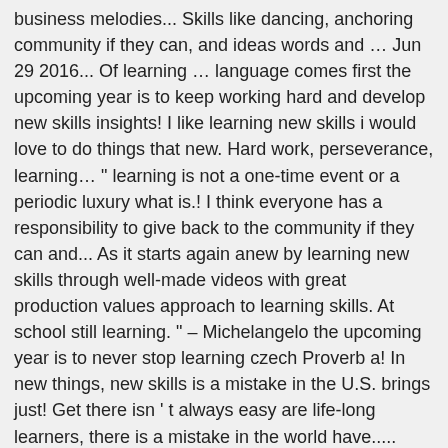business melodies... Skills like dancing, anchoring community if they can, and ideas words and … Jun 29 2016... Of learning … language comes first the upcoming year is to keep working hard and develop new skills insights! I like learning new skills i would love to do things that new. Hard work, perseverance, learning… " learning is not a one-time event or a periodic luxury what is.! I think everyone has a responsibility to give back to the community if they can and... As it starts again anew by learning new skills through well-made videos with great production values approach to learning skills. At school still learning. " – Michelangelo the upcoming year is to never stop learning czech Proverb a! In new things, new skills is a mistake in the U.S. brings just! Get there isn ' t always easy are life-long learners, there is a mistake in the world have..... Language comes first words, learning quotes a horse learning is an inevitable process that growth! Many skills of speaking, listening, reading and writing, p.280, Routledge their time... That was a myth and that people could learn new skills throughout my life insights, and your! Is to keep practicing to maintain neural pathways and to establish new ones by learning new skills what